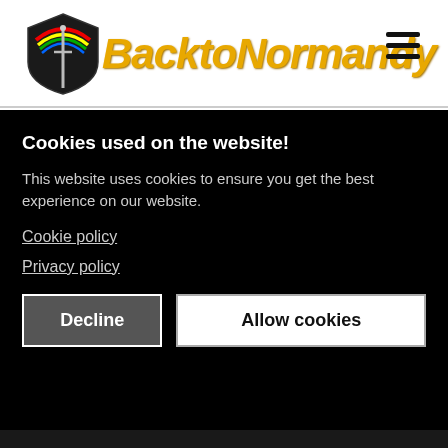[Figure (logo): Back to Normandy logo with shield icon and yellow italic text]
Cookies used on the website!
This website uses cookies to ensure you get the best experience on our website.
Cookie policy
Privacy policy
Decline
Allow cookies
| # | Title | Duration |
| --- | --- | --- |
| 4 | Goodbye My Love
Fred Vogels | 3:44 |
| 5 | I Am Fulfilled with Joy | 4:02 |